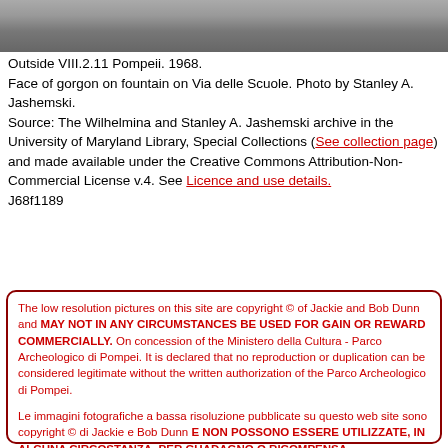[Figure (photo): Grayscale photo strip showing stone surface, partial view of a gorgon face on a fountain.]
Outside VIII.2.11 Pompeii. 1968.
Face of gorgon on fountain on Via delle Scuole. Photo by Stanley A. Jashemski.
Source: The Wilhelmina and Stanley A. Jashemski archive in the University of Maryland Library, Special Collections (See collection page) and made available under the Creative Commons Attribution-Non-Commercial License v.4. See Licence and use details.
J68f1189
The low resolution pictures on this site are copyright © of Jackie and Bob Dunn and MAY NOT IN ANY CIRCUMSTANCES BE USED FOR GAIN OR REWARD COMMERCIALLY. On concession of the Ministero della Cultura - Parco Archeologico di Pompei. It is declared that no reproduction or duplication can be considered legitimate without the written authorization of the Parco Archeologico di Pompei.

Le immagini fotografiche a bassa risoluzione pubblicate su questo web site sono copyright © di Jackie e Bob Dunn E NON POSSONO ESSERE UTILIZZATE, IN ALCUNA CIRCOSTANZA, PER GUADAGNO O RICOMPENSA COMMERCIALMENTE. Su concessione del Ministero della Cultura - Parco Archeologico di Pompei. Si comunica che nessun riproduzione o duplicazione può considerarsi legittimo senza l'autorizzazione scritta del Parco Archeologico di Pompei.

Ultimo aggiornamento - Last updated: 03-Jun-2022 18:44